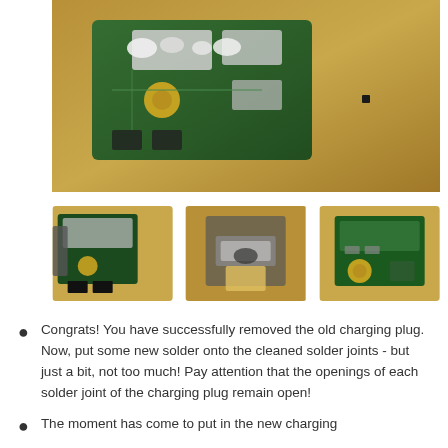[Figure (photo): Close-up photograph of a green circuit board (PCB) with solder joints and components, placed on a brown surface. Small component visible to the right.]
[Figure (photo): Three thumbnail images of circuit board/charging plug components during repair process. Left: PCB with solder points. Center: Charging plug component removed. Right: Clean PCB ready for new plug.]
Congrats! You have successfully removed the old charging plug. Now, put some new solder onto the cleaned solder joints - but just a bit, not too much! Pay attention that the openings of each solder joint of the charging plug remain open!
The moment has come to put in the new charging